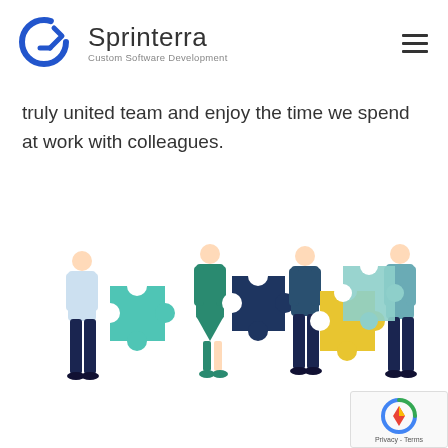Sprinterra — Custom Software Development
truly united team and enjoy the time we spend at work with colleagues.
[Figure (illustration): Four illustrated people holding colorful puzzle pieces (teal, dark navy, yellow/gold, light teal) as if assembling them together, representing teamwork and collaboration.]